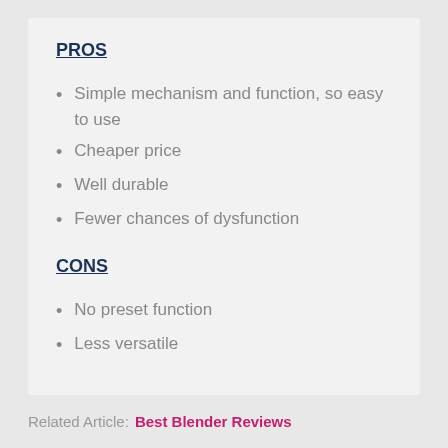PROS
Simple mechanism and function, so easy to use
Cheaper price
Well durable
Fewer chances of dysfunction
CONS
No preset function
Less versatile
Related Article:  Best Blender Reviews